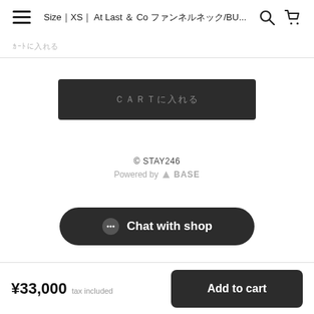Size｜XS｜ At Last ＆ Co ファンネルネック/BU...
ｶｰﾄに入れる
（カートに入れる button)
© STAY246
Powered by BASE
Chat with shop
¥33,000 tax included
Add to cart